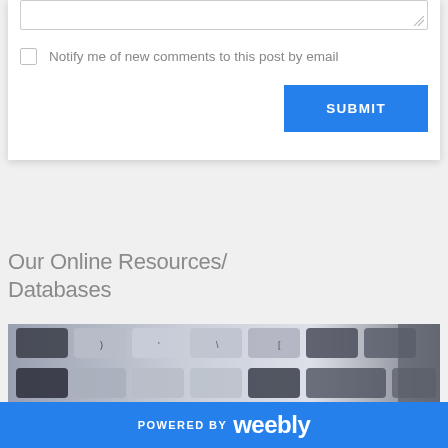[Figure (screenshot): Partial form with textarea stub, checkbox labeled 'Notify me of new comments to this post by email', and a blue SUBMIT button]
Our Online Resources/
Databases
[Figure (photo): Close-up photo of a laptop keyboard with silver/grey keys on dark background]
POWERED BY weebly